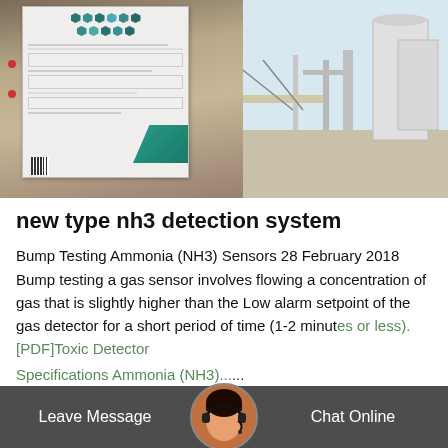[Figure (photo): Photo showing an industrial document/datasheet posted on a white board or surface (left side), and industrial equipment/tanks visible in an outdoor facility (right side). The document shows hexagonal icons in teal/green colors at the top and a teal geometric shape at the bottom.]
new type nh3 detection system
Bump Testing Ammonia (NH3) Sensors 28 February 2018 Bump testing a gas sensor involves flowing a concentration of gas that is slightly higher than the Low alarm setpoint of the gas detector for a short period of time (1-2 minutes or less).[PDF]Toxic Detector Specifications Ammonia (NH3)....
Leave Message   Chat Online